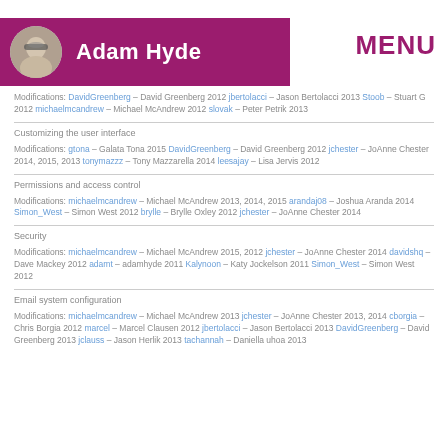Adam Hyde | MENU
Modifications: DavidGreenberg - David Greenberg 2012 jbertolacci - Jason Bertolacci 2013 Stoob - Stuart G 2012 michaelmcandrew - Michael McAndrew 2012 slovak - Peter Petrik 2013
Customizing the user interface
Modifications: gtona - Galata Tona 2015 DavidGreenberg - David Greenberg 2012 jchester - JoAnne Chester 2014, 2015, 2013 tonymazzz - Tony Mazzarella 2014 leesajay - Lisa Jervis 2012
Permissions and access control
Modifications: michaelmcandrew - Michael McAndrew 2013, 2014, 2015 arandaj08 - Joshua Aranda 2014 Simon_West - Simon West 2012 brylle - Brylle Oxley 2012 jchester - JoAnne Chester 2014
Security
Modifications: michaelmcandrew - Michael McAndrew 2015, 2012 jchester - JoAnne Chester 2014 davidshq - Dave Mackey 2012 adamt - adamhyde 2011 Kalynoon - Katy Jockelson 2011 Simon_West - Simon West 2012
Email system configuration
Modifications: michaelmcandrew - Michael McAndrew 2013 jchester - JoAnne Chester 2013, 2014 cborgia - Chris Borgia 2012 marcel - Marcel Clausen 2012 jbertolacci - Jason Bertolacci 2013 DavidGreenberg - David Greenberg 2013 jclauss - Jason Herlik 2013 tachannah - Daniella uhoa 2013